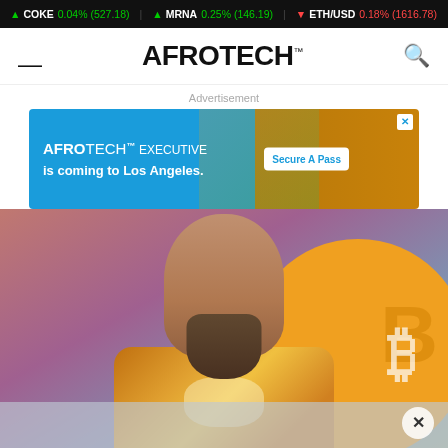COKE 0.04% (527.18) | MRNA 0.25% (146.19) | ETH/USD 0.18% (1616.78)
AFROTECH™
[Figure (screenshot): AfroTech Executive advertisement banner: 'AFROTECH EXECUTIVE is coming to Los Angeles.' with 'Secure A Pass' button and palm tree image]
[Figure (photo): A bald man with a large beard wearing a tie-dye orange/yellow t-shirt standing in front of a Bitcoin logo circle and colorful background]